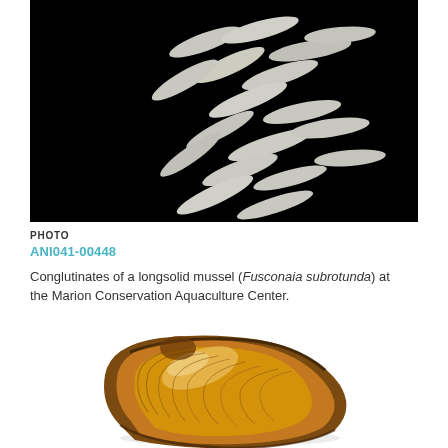[Figure (photo): Close-up photo on black background showing multiple conglutinates (larval packets) of a longsolid mussel (Fusconaia subrotunda) — elongated white/gray fish-lure-like structures scattered across the frame]
PHOTO
ANI041-00448
Conglutinates of a longsolid mussel (Fusconaia subrotunda) at the Marion Conservation Aquaculture Center.
[Figure (photo): Close-up photo of a longsolid mussel shell (Fusconaia subrotunda) on a white background — brown/amber colored, oval-shaped shell with growth rings visible]